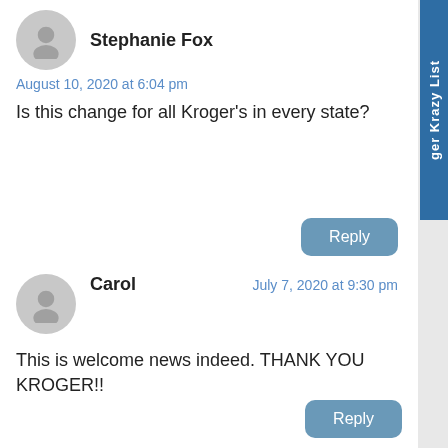Stephanie Fox
August 10, 2020 at 6:04 pm
Is this change for all Kroger's in every state?
Reply
Carol
July 7, 2020 at 9:30 pm
This is welcome news indeed. THANK YOU KROGER!!
Reply
ger Krazy List